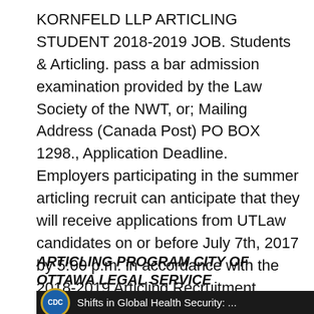KORNFELD LLP ARTICLING STUDENT 2018-2019 JOB. Students & Articling. pass a bar admission examination provided by the Law Society of the NWT, or; Mailing Address (Canada Post) PO BOX 1298., Application Deadline. Employers participating in the summer articling recruit can anticipate that they will receive applications from UTLaw candidates on or before July 7th, 2017 by 5:00 p.m. in accordance with the 2018-2019 Articling Recruitment Procedures established by The Law Society of Upper Canada..
ARTICLING PROGRAM CITY OF OTTAWA LEGAL SERVICE
[Figure (screenshot): Dark banner with CDC logo circle and partial text 'Shifts in Global Health Security: ...' in white on dark background]